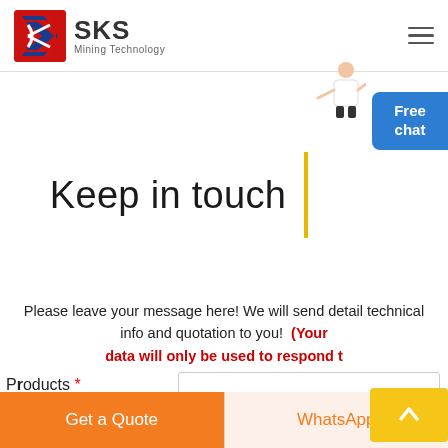SKS Mining Technology
Keep in touch
Please leave your message here! We will send detail technical info and quotation to you! (Your data will only be used to respond to)
[Figure (screenshot): Free chat widget with person illustration in top right corner]
[Figure (other): Yellow scroll-to-top arrow button]
Products *
Get a Quote
WhatsApp